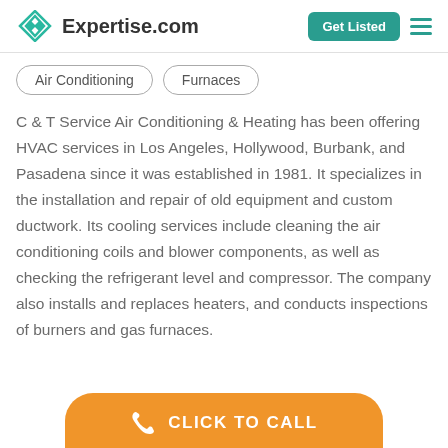Expertise.com
Air Conditioning
Furnaces
C & T Service Air Conditioning & Heating has been offering HVAC services in Los Angeles, Hollywood, Burbank, and Pasadena since it was established in 1981. It specializes in the installation and repair of old equipment and custom ductwork. Its cooling services include cleaning the air conditioning coils and blower components, as well as checking the refrigerant level and compressor. The company also installs and replaces heaters, and conducts inspections of burners and gas furnaces.
CLICK TO CALL